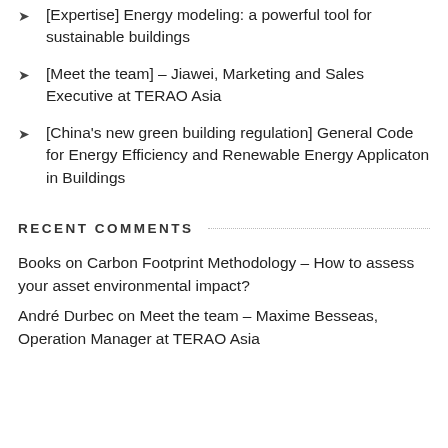[Expertise] Energy modeling: a powerful tool for sustainable buildings
[Meet the team] – Jiawei, Marketing and Sales Executive at TERAO Asia
[China's new green building regulation] General Code for Energy Efficiency and Renewable Energy Applicaton in Buildings
RECENT COMMENTS
Books on Carbon Footprint Methodology – How to assess your asset environmental impact?
André Durbec on Meet the team – Maxime Besseas, Operation Manager at TERAO Asia